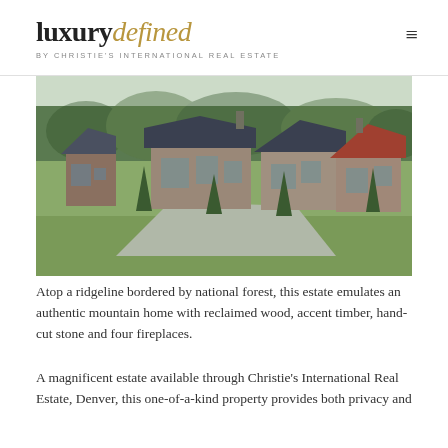luxury defined BY CHRISTIE'S INTERNATIONAL REAL ESTATE
[Figure (photo): Aerial/eye-level view of a large mountain estate with multiple buildings featuring rustic architecture — reclaimed wood siding, stone facades, varied rooflines with dark shingles and red metal roofs, surrounded by green lawns, a winding driveway, and pine trees with mountain forest in the background.]
Atop a ridgeline bordered by national forest, this estate emulates an authentic mountain home with reclaimed wood, accent timber, hand-cut stone and four fireplaces.
A magnificent estate available through Christie's International Real Estate, Denver, this one-of-a-kind property provides both privacy and